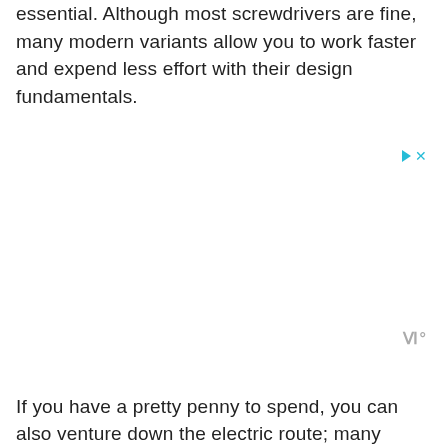essential. Although most screwdrivers are fine, many modern variants allow you to work faster and expend less effort with their design fundamentals.
[Figure (other): Small ad icon with play triangle and X in cyan/teal color, and a brand watermark with letter W and degree symbol in gray]
If you have a pretty penny to spend, you can also venture down the electric route; many